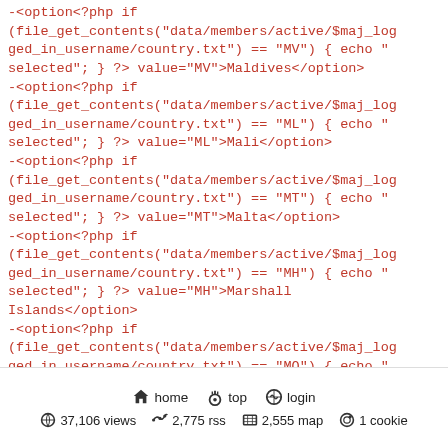-<option<?php if (file_get_contents("data/members/active/$maj_logged_in_username/country.txt") == "MV") { echo "selected"; } ?> value="MV">Maldives</option>
-<option<?php if (file_get_contents("data/members/active/$maj_logged_in_username/country.txt") == "ML") { echo "selected"; } ?> value="ML">Mali</option>
-<option<?php if (file_get_contents("data/members/active/$maj_logged_in_username/country.txt") == "MT") { echo "selected"; } ?> value="MT">Malta</option>
-<option<?php if (file_get_contents("data/members/active/$maj_logged_in_username/country.txt") == "MH") { echo "selected"; } ?> value="MH">Marshall Islands</option>
-<option<?php if (file_get_contents("data/members/active/$maj_logged_in_username/country.txt") == "MQ") { echo "selected"; } ?> value="MQ">Martinique</option>
-<option<?php if (file_get_contents("data/members/active/$maj_logged_in_username/country.txt") == "MR") { echo "selected"; } ?> value="MR">Mauritania</option>
-<option<?php if (file_get_contents("data/members/active/$maj_logged_in_username/country.txt") == ...
home  top  login | 37,106 views  2,775 rss  2,555 map  1 cookie